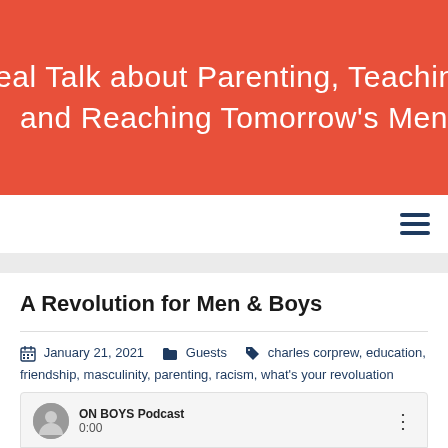eal Talk about Parenting, Teaching and Reaching Tomorrow's Men
[Figure (screenshot): Navigation hamburger menu icon (three horizontal lines) on white nav bar]
A Revolution for Men & Boys
January 21, 2021   Guests   charles corprew, education, friendship, masculinity, parenting, racism, what's your revoluation   Janet
[Figure (screenshot): Podcast player widget showing ON BOYS Podcast label, avatar, and 0:00 timestamp with a three-dot menu]